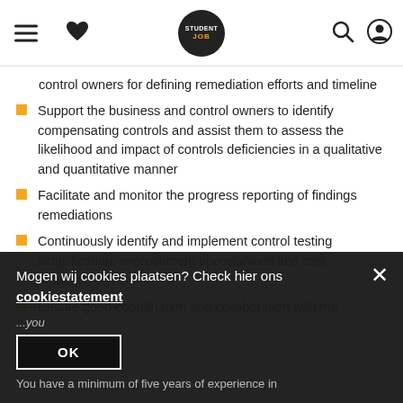StudentJob navigation bar
control owners for defining remediation efforts and timeline
Support the business and control owners to identify compensating controls and assist them to assess the likelihood and impact of controls deficiencies in a qualitative and quantitative manner
Facilitate and monitor the progress reporting of findings remediations
Continuously identify and implement control testing simplification, improvement opportunities and cost reduction drivers
Ensure good coordination and collaboration with the Offshored Teams in IBSS Manila
...you
You have a minimum of five years of experience in